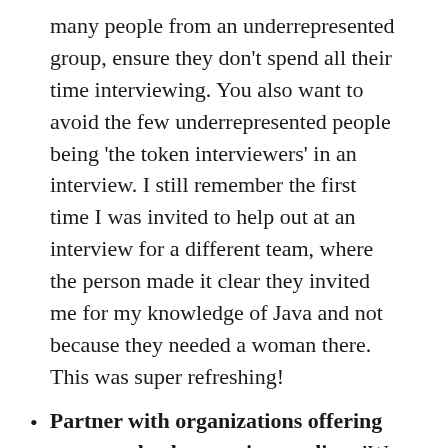many people from an underrepresented group, ensure they don't spend all their time interviewing. You also want to avoid the few underrepresented people being 'the token interviewers' in an interview. I still remember the first time I was invited to help out at an interview for a different team, where the person made it clear they invited me for my knowledge of Java and not because they needed a woman there. This was super refreshing!
Partner with organizations offering non-standard routes into coding. 'We have had a lot of success recruiting through organisations like Code Your Future (training refugees) and Makers Academy